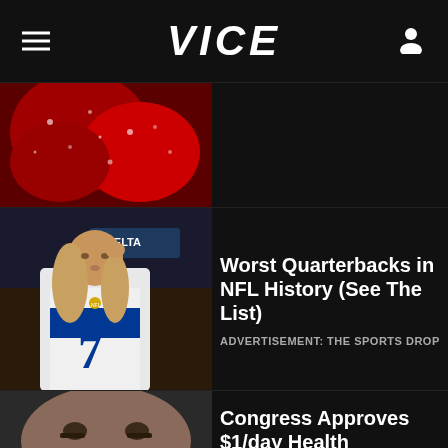VICE
[Figure (photo): Close-up of red sugary candy or strawberry with water droplets]
[Figure (photo): NFL quarterback wearing number 7 jersey (Colts) with long blond hair, Delta signage in background]
Worst Quarterbacks in NFL History (See The List)
ADVERTISEMENT: THE SPORTS DROP
[Figure (photo): Close-up of a distressed man's face above an insurance check from Insurance Company for $454,321 dated 04 09 19, Austin Texas, made out to John F Doe Jr, 1234 Anystreet, Anywhere USA 12345-6789]
Congress Approves $1/day Health Insurance Giveback Program for Millions of...
ADVERTISEMENT: OBAMACAREPLANS.C...